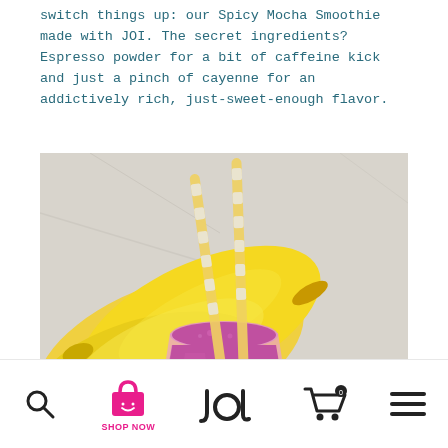switch things up: our Spicy Mocha Smoothie made with JOI. The secret ingredients? Espresso powder for a bit of caffeine kick and just a pinch of cayenne for an addictively rich, just-sweet-enough flavor.
[Figure (photo): A purple/magenta smoothie in a clear glass with two yellow-and-white striped straws, surrounded by bananas and a strawberry on a marble surface.]
Search | SHOP NOW | JOI logo | Cart | Menu